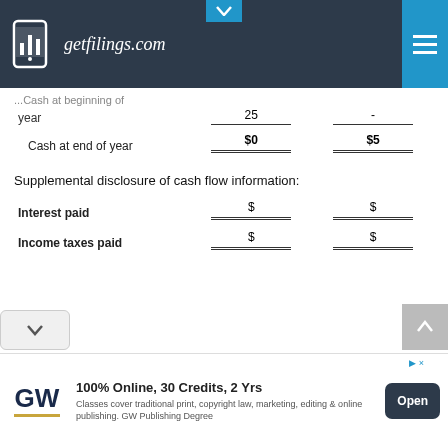getfilings.com
...Cash at beginning of year
|  | Col1 | Col2 |
| --- | --- | --- |
| Cash at beginning of year | 25 | - |
| Cash at end of year | $0 | $5 |
Supplemental disclosure of cash flow information:
|  | Col1 | Col2 |
| --- | --- | --- |
| Interest paid | $ | $ |
| Income taxes paid | $ | $ |
[Figure (other): Advertisement for GW Online Publishing Degree: 100% Online, 30 Credits, 2 Yrs]